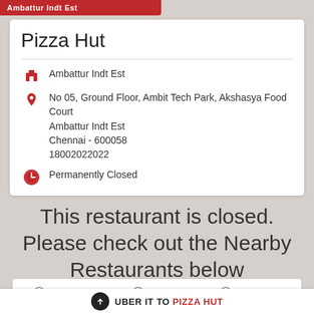Ambattur Indt Est
Pizza Hut
Ambattur Indt Est
No 05, Ground Floor, Ambit Tech Park, Akshasya Food Court
Ambattur Indt Est
Chennai - 600058
18002022022
Permanently Closed
This restaurant is closed. Please check out the Nearby Restaurants below
DELIVERY    DINE IN    TAKEAWAY
UBER IT TO PIZZA HUT